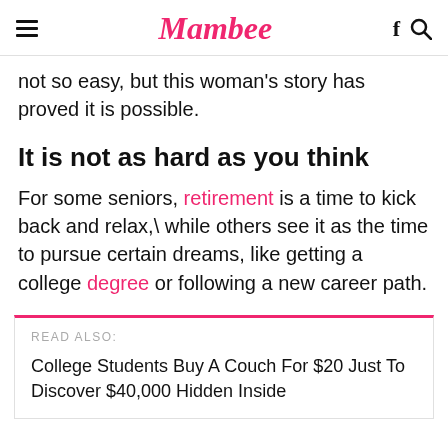Mambee
not so easy, but this woman's story has proved it is possible.
It is not as hard as you think
For some seniors, retirement is a time to kick back and relax,\ while others see it as the time to pursue certain dreams, like getting a college degree or following a new career path.
READ ALSO:
College Students Buy A Couch For $20 Just To Discover $40,000 Hidden Inside